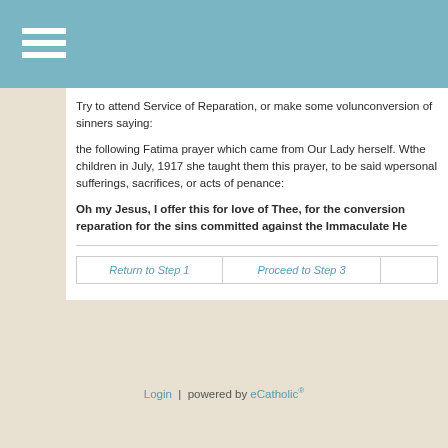Try to attend Service of Reparation, or make some volun... conversion of sinners saying:
the following Fatima prayer which came from Our Lady herself. W... the children in July, 1917 she taught them this prayer, to be said w... personal sufferings, sacrifices, or acts of penance:
Oh my Jesus, I offer this for love of Thee, for the conversion... reparation for the sins committed against the Immaculate He...
| Return to Step 1 | Proceed to Step 3 |  |
| --- | --- | --- |
Login | powered by eCatholic®